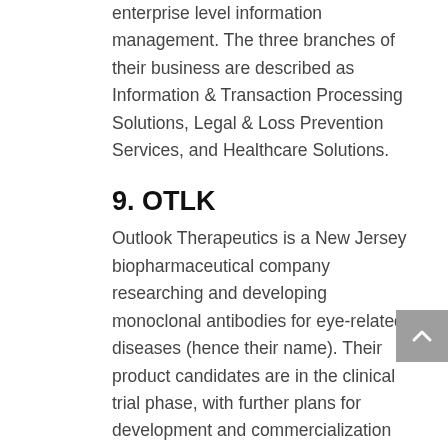enterprise level information management. The three branches of their business are described as Information & Transaction Processing Solutions, Legal & Loss Prevention Services, and Healthcare Solutions.
9. OTLK
Outlook Therapeutics is a New Jersey biopharmaceutical company researching and developing monoclonal antibodies for eye-related diseases (hence their name). Their product candidates are in the clinical trial phase, with further plans for development and commercialization pending those results.
10. INFI
Infinity Pharmaceuticals incorporated is based in Cambridge, Massachusetts, and focuses on developing novel medicines for cancer patients. Its key candidate right now is IPI-495, an orally administered treatment